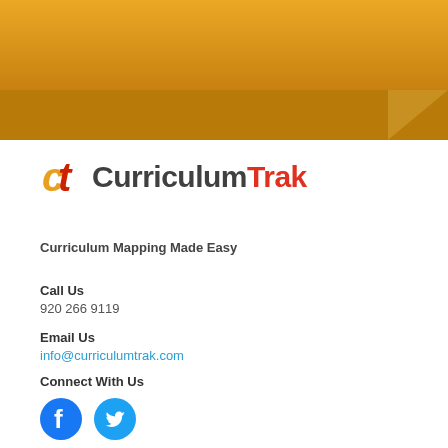[Figure (logo): CurriculumTrak logo with golden CT icon and brand name in dark grey and red]
Curriculum Mapping Made Easy
Call Us
920 266 9119
Email Us
info@curriculumtrak.com
Connect With Us
[Figure (illustration): Facebook and Twitter social media icons in blue circles]